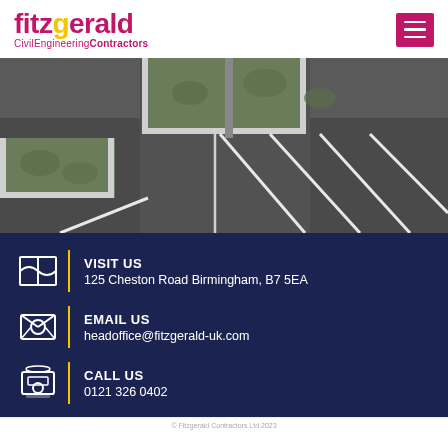[Figure (logo): Fitzgerald Civil Engineering Contractors logo in magenta/pink with yellow dot accent]
[Figure (photo): Aerial/ground-level photo of a car park / parking lot with dark tarmac surface, white line markings, concrete kerbing, and green planted islands]
VISIT US
125 Cheston Road Birmingham, B7 5EA
EMAIL US
headoffice@fitzgerald-uk.com
CALL US
0121 326 0402
© Fitzgerald Contractors Ltd 2023